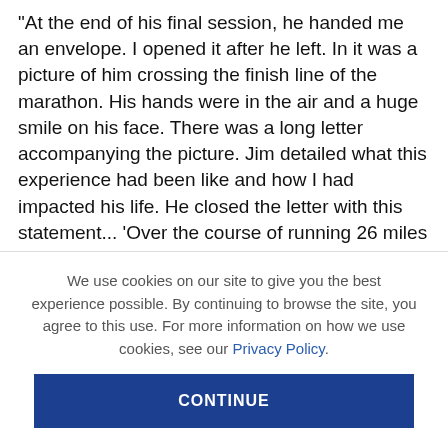them on.

“At the end of his final session, he handed me an envelope. I opened it after he left. In it was a picture of him crossing the finish line of the marathon. His hands were in the air and a huge smile on his face. There was a long letter accompanying the picture. Jim detailed what this experience had been like and how I had impacted his life. He closed the letter with this statement... ‘Over the course of running 26 miles I thought about many things, but as I approached the
We use cookies on our site to give you the best experience possible. By continuing to browse the site, you agree to this use. For more information on how we use cookies, see our Privacy Policy.
CONTINUE